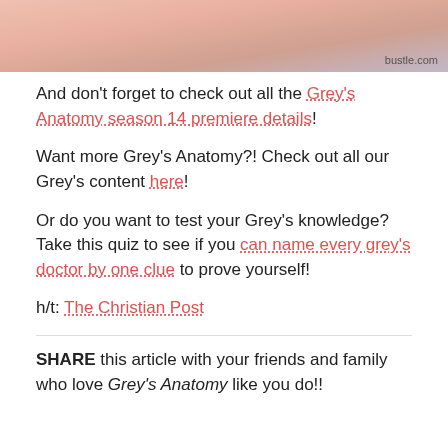[Figure (photo): Cropped bottom portion of a photo of people, with bustle.com watermark in bottom right corner]
And don't forget to check out all the Grey's Anatomy season 14 premiere details!
Want more Grey's Anatomy?! Check out all our Grey's content here!
Or do you want to test your Grey's knowledge? Take this quiz to see if you can name every grey's doctor by one clue to prove yourself!
h/t: The Christian Post
SHARE this article with your friends and family who love Grey's Anatomy like you do!!